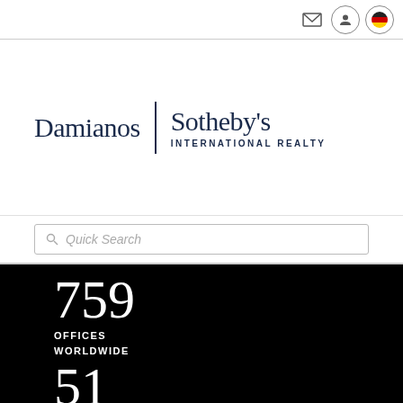[Figure (screenshot): Top navigation bar with mail icon, user profile icon, and German flag icon on white background]
[Figure (logo): Damianos | Sotheby's International Realty logo in dark navy on white background]
Quick Search
759
OFFICES
WORLDWIDE
51
COUNTRIES &
TERRITORIES